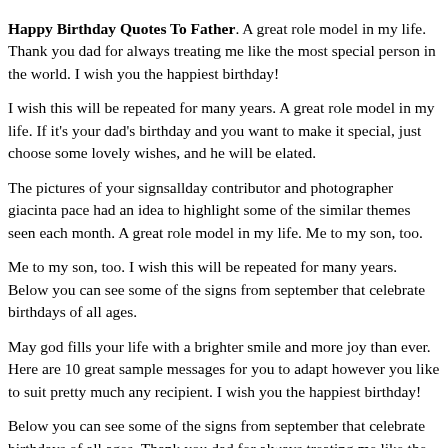Happy Birthday Quotes To Father. A great role model in my life. Thank you dad for always treating me like the most special person in the world. I wish you the happiest birthday!
I wish this will be repeated for many years. A great role model in my life. If it's your dad's birthday and you want to make it special, just choose some lovely wishes, and he will be elated.
The pictures of your signsallday contributor and photographer giacinta pace had an idea to highlight some of the similar themes seen each month. A great role model in my life. Me to my son, too.
Me to my son, too. I wish this will be repeated for many years. Below you can see some of the signs from september that celebrate birthdays of all ages.
May god fills your life with a brighter smile and more joy than ever. Here are 10 great sample messages for you to adapt however you like to suit pretty much any recipient. I wish you the happiest birthday!
Below you can see some of the signs from september that celebrate birthdays of all ages. Thank you dad for always treating me like the most special person in the world. Time to write a happy birthday card